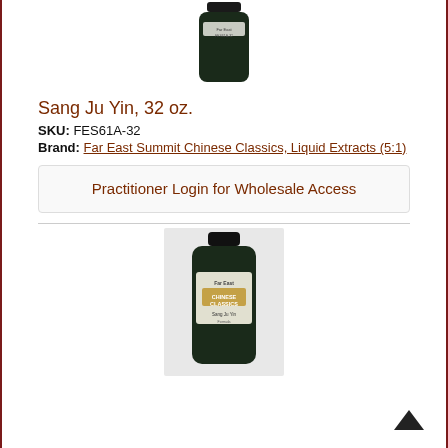[Figure (photo): Dark glass bottle product photo, 32 oz, top of page]
Sang Ju Yin, 32 oz.
SKU: FES61A-32
Brand: Far East Summit Chinese Classics, Liquid Extracts (5:1)
Practitioner Login for Wholesale Access
[Figure (photo): Dark glass bottle product photo, smaller size, bottom of page]